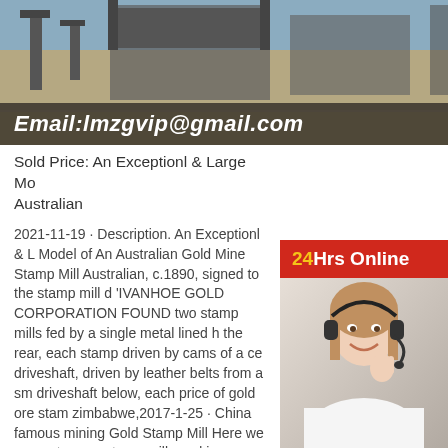[Figure (photo): Aerial or ground-level photo of a mining operation with industrial machinery and earthworks, with an email address overlay bar reading 'Email:lmzgvip@gmail.com']
[Figure (infographic): 24Hrs Online badge in red with yellow and white text, and a customer service agent photo (woman wearing headset smiling), with a 'Need questions & suggestion? Chat Now' box below]
Sold Price: An Exceptionl & Large Mo Australian
2021-11-19 · Description. An Exceptionl & Large Model of An Australian Gold Mine Stamp Mill Australian, c.1890, signed to the stamp mill d 'IVANHOE GOLD CORPORATION FOUND two stamp mills fed by a single metal lined h the rear, each stamp driven by cams of a ce driveshaft, driven by leather belts from a sm driveshaft below, each price of gold ore stam zimbabwe,2017-1-25 · China famous mining Gold Stamp Mill Here we present a rare stamp mill used in zimbabwe gold price gold mining stamp,[PRICE] Gold Stamp Mill For Sale UK,Gold Ore. Live Chat Stamp Mill Crisson Gold Mine Come see the only working stamp mill in Georgia!,It has been used at several mines in the Dahlonega area as well as in other stat.